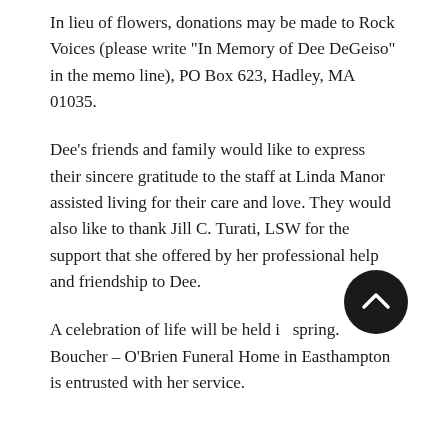In lieu of flowers, donations may be made to Rock Voices (please write "In Memory of Dee DeGeiso" in the memo line), PO Box 623, Hadley, MA 01035.
Dee's friends and family would like to express their sincere gratitude to the staff at Linda Manor assisted living for their care and love. They would also like to thank Jill C. Turati, LSW for the support that she offered by her professional help and friendship to Dee.
A celebration of life will be held in spring. Boucher – O'Brien Funeral Home in Easthampton is entrusted with her service.